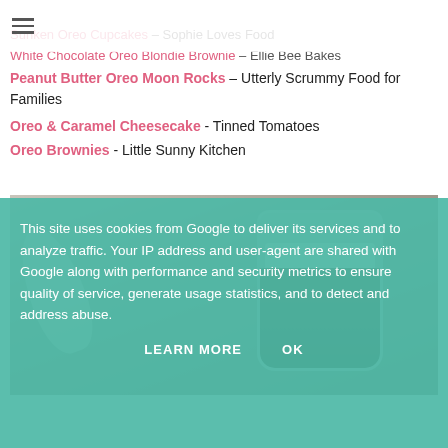≡
Sunken Oreo Cupcakes – Sophie Loves Food
White Chocolate Oreo Blondie Brownie – Ellie Bee Bakes
Peanut Butter Oreo Moon Rocks – Utterly Scrummy Food for Families
Oreo & Caramel Cheesecake - Tinned Tomatoes
Oreo Brownies - Little Sunny Kitchen
[Figure (photo): A glass jar with a chocolate and cream dessert, spoon beside it on a wooden surface]
This site uses cookies from Google to deliver its services and to analyze traffic. Your IP address and user-agent are shared with Google along with performance and security metrics to ensure quality of service, generate usage statistics, and to detect and address abuse.
LEARN MORE   OK